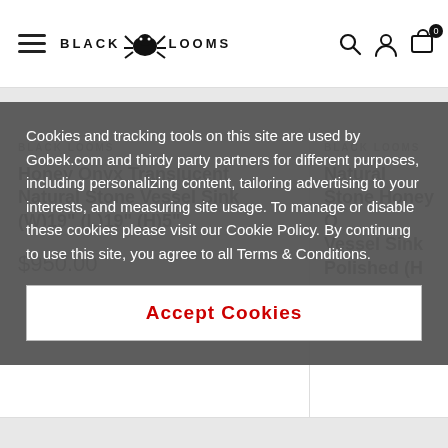BLACK LOOMS — Navigation bar with hamburger menu, logo, search, account, and cart icons
Cookies and tracking tools on this site are used by Gobek.com and thirdy party partners for different purposes, including personalizing content, tailoring advertising to your interests, and measuring site usage. To manage or disable these cookies please visit our Cookie Policy. By continung to use this site, you agree to all Terms & Conditions.
Accept Cookies
BLACK LOOMS
Honey Onyx Translucent Natural Stone Vessel Sink (W)19" (L)19" (H)5"
$950.00
BLACK LOOMS
Natural Stone Honey O... Vessel Sink Polished (H...
$625.00